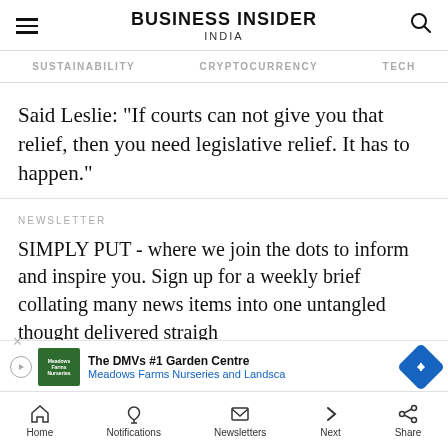BUSINESS INSIDER INDIA
SUSTAINABILITY   CRYPTOCURRENCY   TECH
Said Leslie: "If courts can not give you that relief, then you need legislative relief. It has to happen."
NEWSLETTER
SIMPLY PUT - where we join the dots to inform and inspire you. Sign up for a weekly brief collating many news items into one untangled thought delivered straigh...
[Figure (other): Advertisement banner for The DMVs #1 Garden Centre - Meadows Farms Nurseries and Landscape]
Home   Notifications   Newsletters   Next   Share